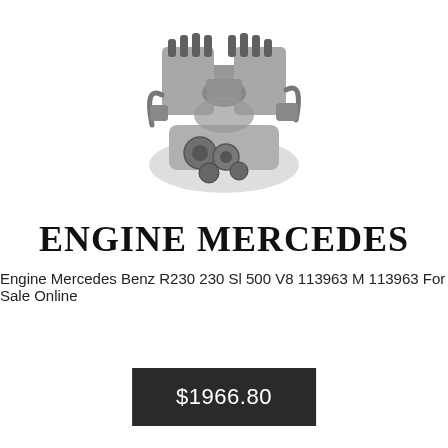[Figure (photo): Photograph of a Mercedes Benz V8 engine (M113963), shown from above, metallic silver/grey components visible including cylinder heads, intake manifold, and accessories, on white background.]
ENGINE MERCEDES
Engine Mercedes Benz R230 230 Sl 500 V8 113963 M 113963 For Sale Online
$1966.80